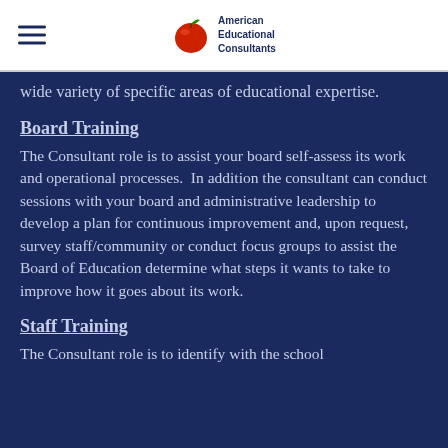American Educational Consultants
wide variety of specific areas of educational expertise.
Board Training
The Consultant role is to assist your board self-assess its work and operational processes.  In addition the consultant can conduct sessions with your board and administrative leadership to develop a plan for continuous improvement and, upon request, survey staff/community or conduct focus groups to assist the Board of Education determine what steps it wants to take to improve how it goes about its work.
Staff Training
The Consultant role is to identify with the school